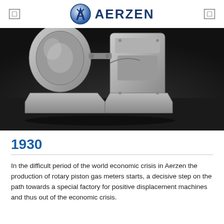AERZEN
[Figure (photo): Black and white photograph of a rotary piston gas meter machine component, showing mechanical housing and base, historical industrial equipment from the 1930s.]
1930
In the difficult period of the world economic crisis in Aerzen the production of rotary piston gas meters starts, a decisive step on the path towards a special factory for positive displacement machines and thus out of the economic crisis.